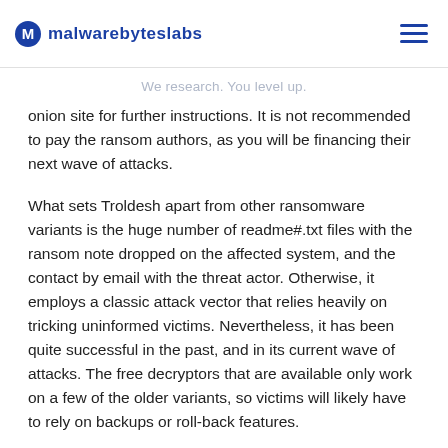malwarebyteslabs — We research. You level up.
onion site for further instructions. It is not recommended to pay the ransom authors, as you will be financing their next wave of attacks.
What sets Troldesh apart from other ransomware variants is the huge number of readme#.txt files with the ransom note dropped on the affected system, and the contact by email with the threat actor. Otherwise, it employs a classic attack vector that relies heavily on tricking uninformed victims. Nevertheless, it has been quite successful in the past, and in its current wave of attacks. The free decryptors that are available only work on a few of the older variants, so victims will likely have to rely on backups or roll-back features.
IOCs
Ransom.Troldesh has used the following extensions for